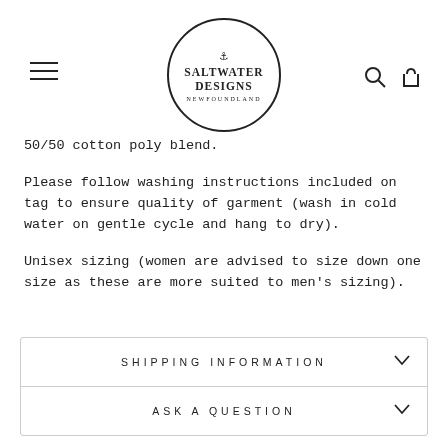Saltwater Designs Newfoundland — navigation header with logo, hamburger menu, search and cart icons
50/50 cotton poly blend.
Please follow washing instructions included on tag to ensure quality of garment (wash in cold water on gentle cycle and hang to dry).
Unisex sizing (women are advised to size down one size as these are more suited to men's sizing).
SHIPPING INFORMATION
ASK A QUESTION